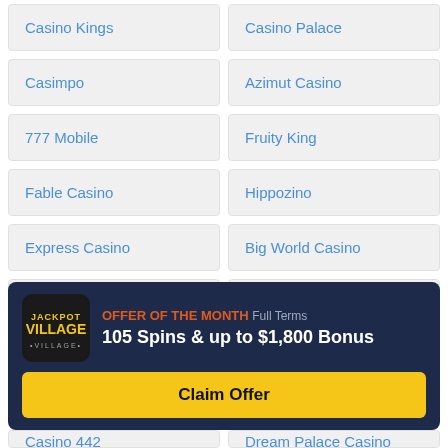Casino Kings
Casino Palace
Casimpo
Azimut Casino
777 Mobile
Fruity King
Fable Casino
Hippozino
Express Casino
Big World Casino
Casino British
Bright Lights Casino
CK Casino
Gold Man Casino
[Figure (infographic): Jackpot Village promotional banner: OFFER OF THE MONTH Full Terms - 105 Spins & up to $1,800 Bonus - Claim Offer button]
Casino 442
Dream Palace Casino